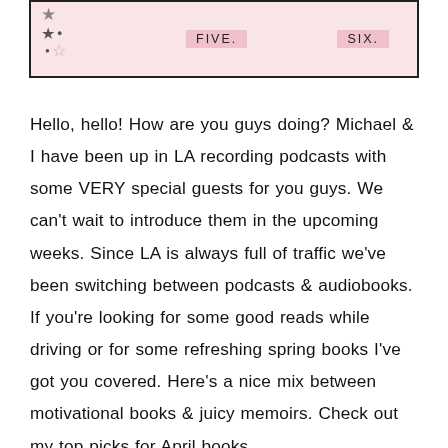[Figure (illustration): Pink box with star decorations on the left, labels 'FIVE.' and 'SIX.' in the middle and right sections]
Hello, hello! How are you guys doing? Michael & I have been up in LA recording podcasts with some VERY special guests for you guys. We can't wait to introduce them in the upcoming weeks. Since LA is always full of traffic we've been switching between podcasts & audiobooks. If you're looking for some good reads while driving or for some refreshing spring books I've got you covered. Here's a nice mix between motivational books & juicy memoirs. Check out my top picks for April books...